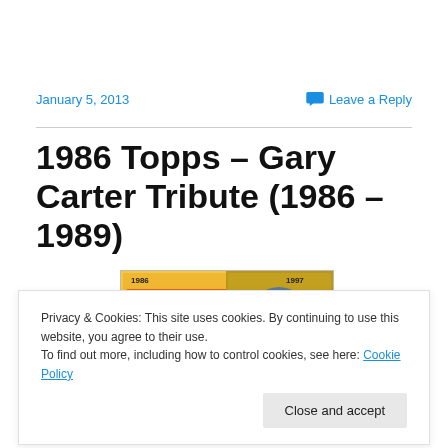January 5, 2013
💬 Leave a Reply
1986 Topps – Gary Carter Tribute (1986 – 1989)
[Figure (photo): Baseball cards showing Mets 1986 and 1997 cards featuring Gary Carter]
Privacy & Cookies: This site uses cookies. By continuing to use this website, you agree to their use.
To find out more, including how to control cookies, see here: Cookie Policy
Close and accept